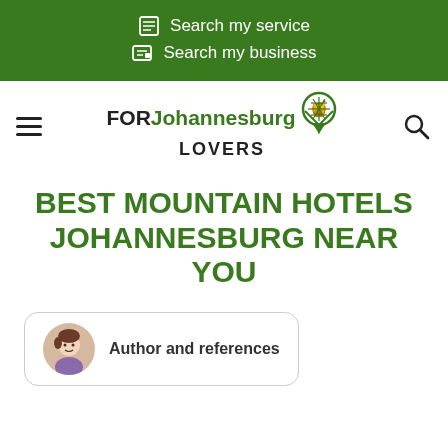Search my service
Search my business
[Figure (logo): FOR Johannesburg LOVERS logo with green location pin icon]
BEST MOUNTAIN HOTELS JOHANNESBURG NEAR YOU
Author and references